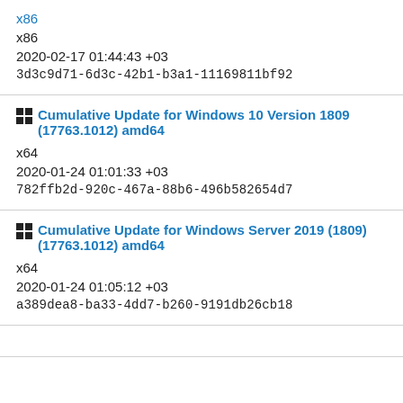x86
x86
2020-02-17 01:44:43 +03
3d3c9d71-6d3c-42b1-b3a1-11169811bf92
Cumulative Update for Windows 10 Version 1809 (17763.1012) amd64
x64
2020-01-24 01:01:33 +03
782ffb2d-920c-467a-88b6-496b582654d7
Cumulative Update for Windows Server 2019 (1809) (17763.1012) amd64
x64
2020-01-24 01:05:12 +03
a389dea8-ba33-4dd7-b260-9191db26cb18